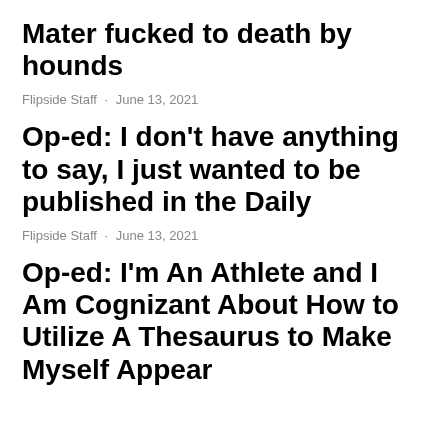Mater fucked to death by hounds
Flipside Staff · June 13, 2021
Op-ed: I don't have anything to say, I just wanted to be published in the Daily
Flipside Staff · June 13, 2021
Op-ed: I'm An Athlete and I Am Cognizant About How to Utilize A Thesaurus to Make Myself Appear